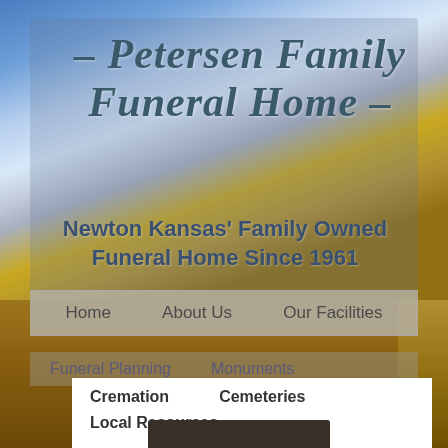[Figure (screenshot): Website screenshot of Petersen Family Funeral Home with sky and wheat field background]
- Petersen Family Funeral Home -
Newton Kansas' Family Owned Funeral Home Since 1961
Home
About Us
Our Facilities
Funeral Planning
Monuments
Cremation
Cemeteries
Local Resources
[Figure (photo): Partial portrait photo of a person from behind/above showing the top of their head with light/white hair against a dark background]